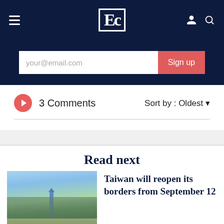Economist newspaper navigation bar with hamburger menu, logo, user and search icons
[Figure (screenshot): Email signup bar with placeholder text 'your@email.com' and red 'Sign up' button on dark navy background]
3 Comments
Sort by : Oldest
Read next
[Figure (photo): Aerial cityscape photo showing Taipei 101 skyscraper amid dense urban buildings with green hills in the foreground]
Taiwan will reopen its borders from September 12
[Figure (photo): Partially visible photo of next article]